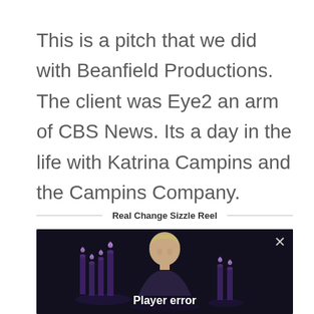This is a pitch that we did with Beanfield Productions.  The client was Eye2 an arm of CBS News.  Its a day in the life with Katrina Campins and the Campins Company.
Real Change Sizzle Reel
[Figure (screenshot): Video player showing a dark scene with purple candles and a person, displaying a 'Player error' message with a close button (×) in the top right.]